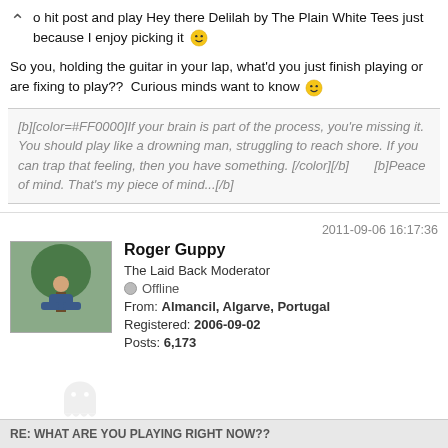o hit post and play Hey there Delilah by The Plain White Tees just because I enjoy picking it 🙂
So you, holding the guitar in your lap, what'd you just finish playing or are fixing to play??  Curious minds want to know 🙂
[b][color=#FF0000]If your brain is part of the process, you're missing it. You should play like a drowning man, struggling to reach shore. If you can trap that feeling, then you have something. [/color][/b]       [b]Peace of mind. That's my piece of mind...[/b]
2011-09-06 16:17:36
Roger Guppy
The Laid Back Moderator
Offline
From: Almancil, Algarve, Portugal
Registered: 2006-09-02
Posts: 6,173
RE: WHAT ARE YOU PLAYING RIGHT NOW??